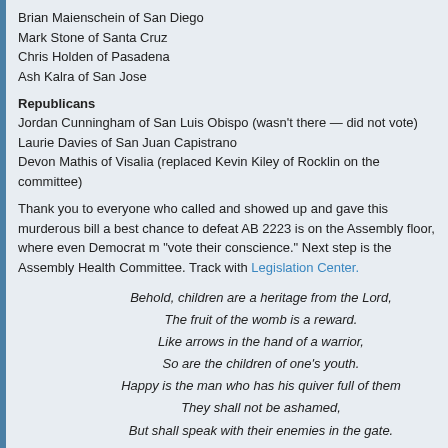Brian Maienschein of San Diego
Mark Stone of Santa Cruz
Chris Holden of Pasadena
Ash Kalra of San Jose
Republicans
Jordan Cunningham of San Luis Obispo (wasn't there — did not vote)
Laurie Davies of San Juan Capistrano
Devon Mathis of Visalia (replaced Kevin Kiley of Rocklin on the committee)
Thank you to everyone who called and showed up and gave this murderous bill a best chance to defeat AB 2223 is on the Assembly floor, where even Democrat m "vote their conscience." Next step is the Assembly Health Committee. Track with Legislation Center.
Behold, children are a heritage from the Lord,
The fruit of the womb is a reward.
Like arrows in the hand of a warrior,
So are the children of one's youth.
Happy is the man who has his quiver full of them
They shall not be ashamed,
But shall speak with their enemies in the gate.
Psalm 127:3-5
Posted in Abortion, Ballot, California Bills, California Legislation, California Legis Churches, Constitution, Creator God, Democrats, Fatherhood, Fighting for what' Morality, Parenting, Republicans, SaveCalifornia.com, Science, Voters | Comme for infanticide